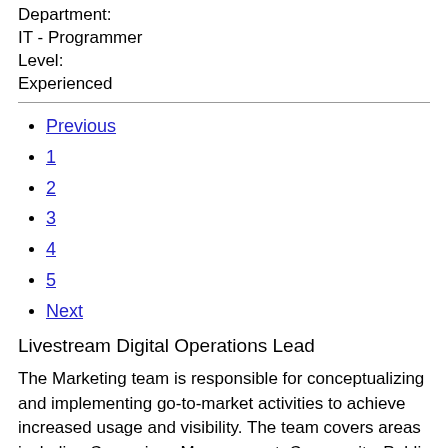Department:
IT - Programmer
Level:
Experienced
Previous
1
2
3
4
5
Next
Livestream Digital Operations Lead
The Marketing team is responsible for conceptualizing and implementing go-to-market activities to achieve increased usage and visibility. The team covers areas including Campaigns Management, Community, Public Relations, Partnerships, Offline Marketing and Design. The Regional Marketing team is responsible for strategizing and implementing go-to-market activities and working with local teams to localize marketing for the specific markets. The Brand and Growth Marketing team covers all aspects of online and performance marketing for the region. This team is responsible for data-driven solutions, tracking